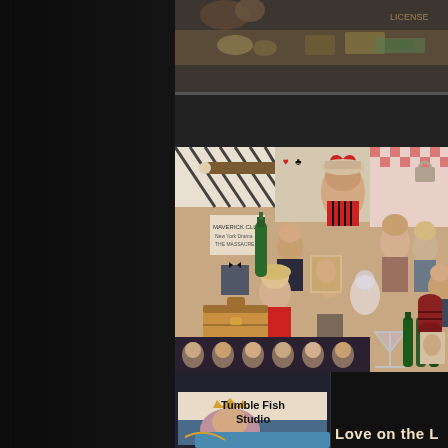[Figure (photo): Top strip image showing vintage collage with objects including coins, envelopes, money on dark background - partially cropped]
[Figure (illustration): Large vintage 1920s-era collage illustration featuring multiple people in period clothing, a cigar, playing cards, a large red heart, a green bottle, a suitcase, a martini glass, a woman in crown dress, and various other vintage ephemera. Appears to be promotional art for a murder mystery or theatrical production.]
[Figure (logo): Tumble Fish Studio logo with vintage illustration of a woman in a crown]
Love on the L